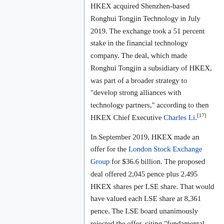HKEX acquired Shenzhen-based Ronghui Tongjin Technology in July 2019. The exchange took a 51 percent stake in the financial technology company. The deal, which made Ronghui Tongjin a subsidiary of HKEX, was part of a broader strategy to "develop strong alliances with technology partners," according to then HKEX Chief Executive Charles Li.[17]
In September 2019, HKEX made an offer for the London Stock Exchange Group for $36.6 billion. The proposed deal offered 2,045 pence plus 2.495 HKEX shares per LSE share. That would have valued each LSE share at 8,361 pence. The LSE board unanimously rejected the offer, citing "fundamental flaws." HKEX dropped its bid in October 2019, after